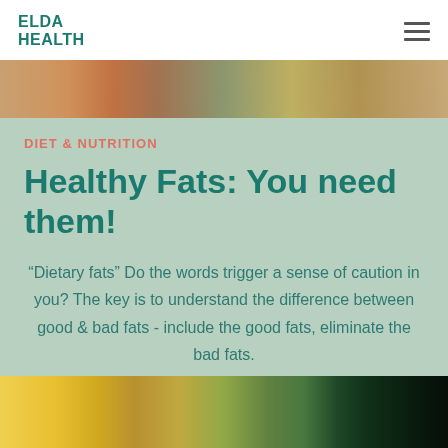ELDA HEALTH
[Figure (photo): Top banner photo showing various healthy foods including nuts, seeds, and produce]
DIET & NUTRITION
Healthy Fats: You need them!
“Dietary fats” Do the words trigger a sense of caution in you? The key is to understand the difference between good & bad fats - include the good fats, eliminate the bad fats.
[Figure (photo): Bottom banner photo showing colorful seeds and legumes including yellow lentils, green mung beans, and black beans in wooden spoons]